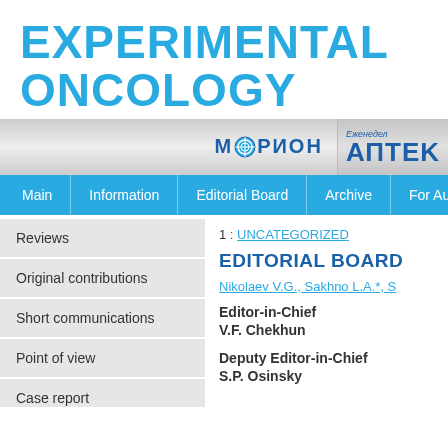EXPERIMENTAL ONCOLOGY
[Figure (logo): Morion and Apteka sponsor logos in grey bar]
Main | Information | Editorial Board | Archive | For Authors
Reviews
Original contributions
Short communications
Point of view
Case report
Letter to editor
Editorial
Methods and techniques
1 : UNCATEGORIZED
EDITORIAL BOARD
Nikolaev V.G., Sakhno L.A.*, S...
Editor-in-Chief
V.F. Chekhun
Deputy Editor-in-Chief
S.P. Osinsky